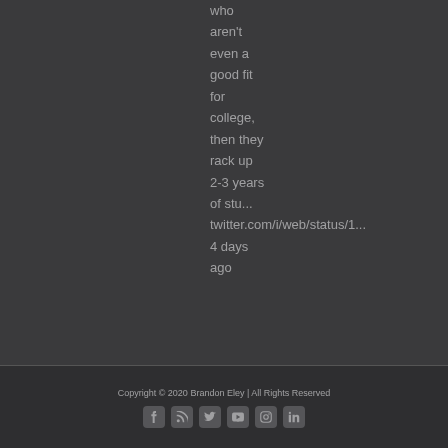who aren't even a good fit for college, then they rack up 2-3 years of stu... twitter.com/i/web/status/1... 4 days ago
Copyright © 2020 Brandon Eley | All Rights Reserved